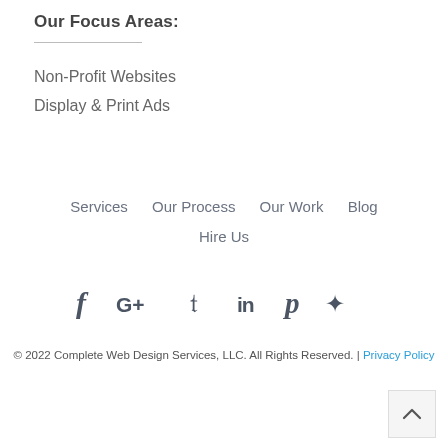Our Focus Areas:
Non-Profit Websites
Display & Print Ads
Services    Our Process    Our Work    Blog
Hire Us
[Figure (other): Social media icons: Facebook, Google+, Twitter, LinkedIn, Pinterest, pin/bookmark]
© 2022 Complete Web Design Services, LLC. All Rights Reserved. | Privacy Policy